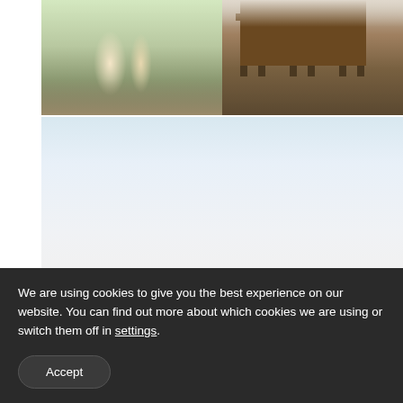[Figure (photo): Two photos side by side at top: left shows a couple walking on a stone path in a garden setting; right shows rustic wooden chairs with cushioned seats at a table.]
[Figure (photo): A large photo below showing a light sky scene, appearing mostly white and light blue-grey.]
We are using cookies to give you the best experience on our website. You can find out more about which cookies we are using or switch them off in settings.
Accept